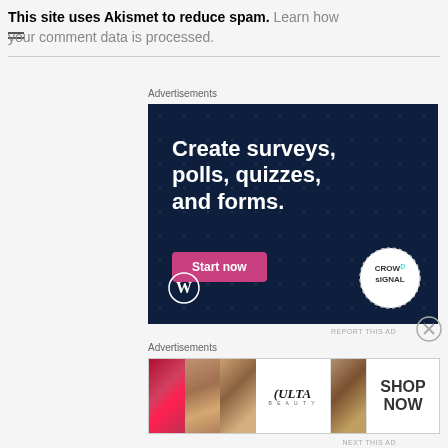This site uses Akismet to reduce spam. Learn how your comment data is processed.
Advertisements
[Figure (illustration): Advertisement banner for Crowd Signal / WordPress: dark navy background with white bold text 'Create surveys, polls, quizzes, and forms.' with a pink 'Start now' button, WordPress logo bottom left, Crowd Signal logo bottom right]
REPORT THIS AD
Advertisements
[Figure (photo): Ulta Beauty advertisement strip showing makeup photos: red lips with brush applicator, eyebrow/eye close-up, Ulta Beauty logo, eye close-up, and SHOP NOW text]